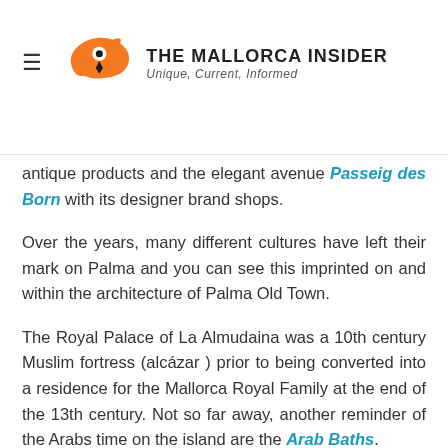THE MALLORCA INSIDER — Unique, Current, Informed
antique products and the elegant avenue Passeig des Born with its designer brand shops.
Over the years, many different cultures have left their mark on Palma and you can see this imprinted on and within the architecture of Palma Old Town.
The Royal Palace of La Almudaina was a 10th century Muslim fortress (alcázar ) prior to being converted into a residence for the Mallorca Royal Family at the end of the 13th century. Not so far away, another reminder of the Arabs time on the island are the Arab Baths.
The Cathedral 'La Seu' occupies the site of what